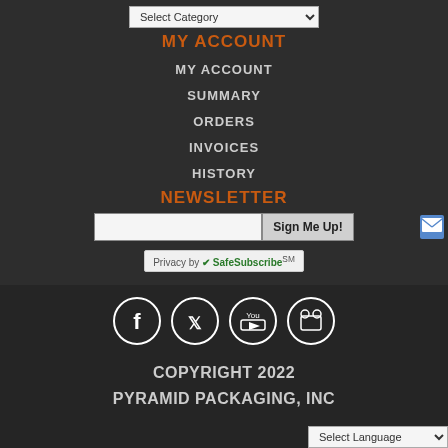Select Category (dropdown)
MY ACCOUNT
MY ACCOUNT
SUMMARY
ORDERS
INVOICES
HISTORY
NEWSLETTER
Sign Me Up! (email input and button)
Privacy by SafeSubscribeSM
[Figure (illustration): Social media icons row: Facebook, Twitter, YouTube, Slideshare in white circle outlines]
COPYRIGHT 2022 PYRAMID PACKAGING, INC
Select Language (dropdown)